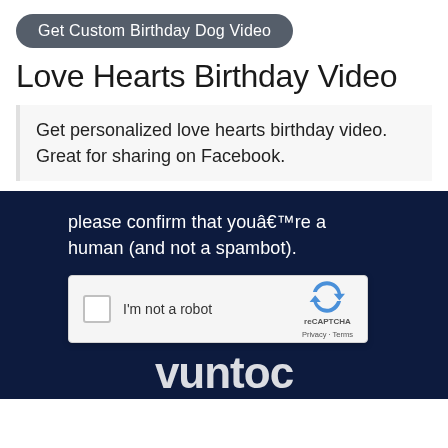Get Custom Birthday Dog Video
Love Hearts Birthday Video
Get personalized love hearts birthday video. Great for sharing on Facebook.
please confirm that youâ€™re a human (and not a spambot).
[Figure (screenshot): reCAPTCHA widget showing a checkbox labeled 'I'm not a robot' with reCAPTCHA logo, Privacy and Terms links]